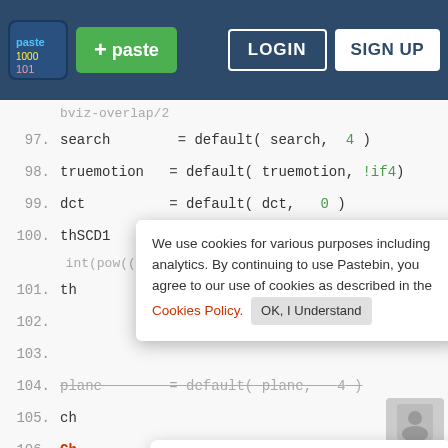Pastebin header with logo, paste button, LOGIN and SIGN UP
[Figure (screenshot): Code editor showing lines 97-110 of a script with variable assignments using default() function. Lines include search, truemotion, dct, thSCD1, plane, ch variables. Cookie consent popup and Hello/Sign Up popup overlaying the code.]
We use cookies for various purposes including analytics. By continuing to use Pastebin, you agree to our use of cookies as described in the Cookies Policy. OK, I Understand
Not a member of Pastebin yet? Sign Up, it unlocks many cool features!